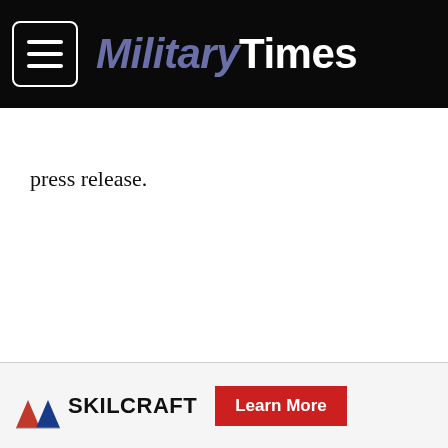MilitaryTimes
press release.
[Figure (other): Ad placeholder box with 'Ad' label]
SKILCRAFT Learn More